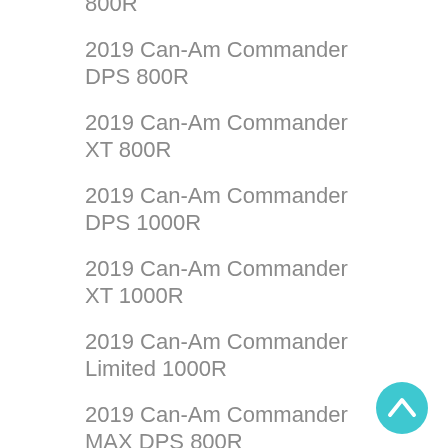800R
2019 Can-Am Commander DPS 800R
2019 Can-Am Commander XT 800R
2019 Can-Am Commander DPS 1000R
2019 Can-Am Commander XT 1000R
2019 Can-Am Commander Limited 1000R
2019 Can-Am Commander MAX DPS 800R
2019 Can-Am Commander MAX XT 1000R
[Figure (logo): Leynos/caret logo in teal circle, bottom right corner]